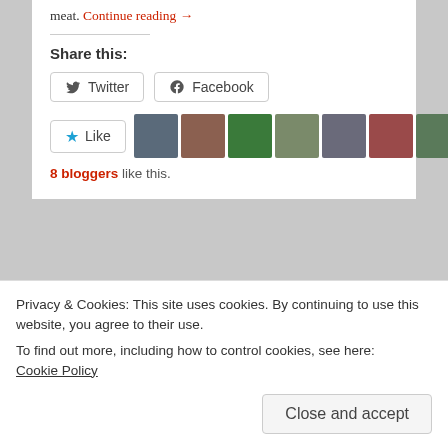meat. Continue reading →
Share this:
Twitter  Facebook
[Figure (other): Like button with star icon and 8 blogger avatars]
8 bloggers like this.
Shield for Murder (1954) A Cops Descent Into
Privacy & Cookies: This site uses cookies. By continuing to use this website, you agree to their use.
To find out more, including how to control cookies, see here:
Cookie Policy
Close and accept